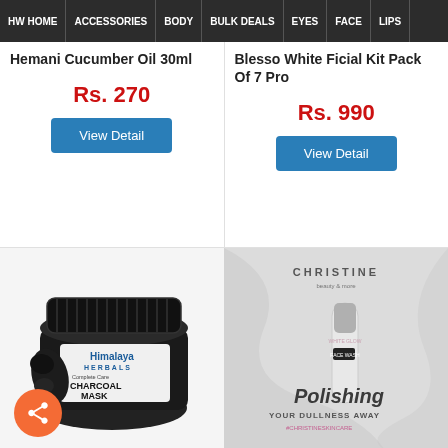HW HOME | ACCESSORIES | BODY | BULK DEALS | EYES | FACE | LIPS
Hemani Cucumber Oil 30ml
Rs. 270
View Detail
Blesso White Ficial Kit Pack Of 7 Pro
Rs. 990
View Detail
[Figure (photo): Himalaya Herbals Complete Care Charcoal Mask jar product photo]
[Figure (photo): Christine White Glow Face Wash product photo with text 'Polishing Your Dullness Away #christineskincare']